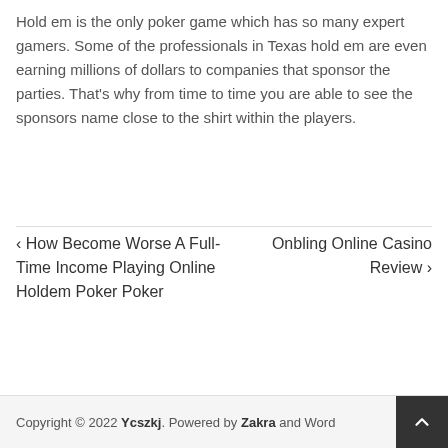Hold em is the only poker game which has so many expert gamers. Some of the professionals in Texas hold em are even earning millions of dollars to companies that sponsor the parties. That's why from time to time you are able to see the sponsors name close to the shirt within the players.
◀ How Become Worse A Full-Time Income Playing Online Holdem Poker Poker
Onbling Online Casino Review ▶
Copyright © 2022 Ycszkj. Powered by Zakra and Word...